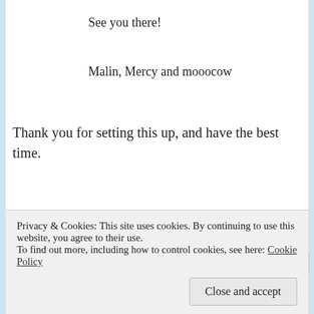See you there!
Malin, Mercy and mooocow
Thank you for setting this up, and have the best time.
Share this:
Email  Facebook  Reddit  Twitter
Privacy & Cookies: This site uses cookies. By continuing to use this website, you agree to their use.
To find out more, including how to control cookies, see here: Cookie Policy
Close and accept